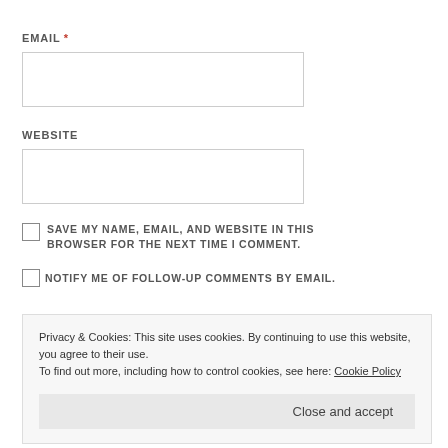EMAIL *
[Figure (other): Empty email input text box]
WEBSITE
[Figure (other): Empty website input text box]
SAVE MY NAME, EMAIL, AND WEBSITE IN THIS BROWSER FOR THE NEXT TIME I COMMENT.
NOTIFY ME OF FOLLOW-UP COMMENTS BY EMAIL.
Privacy & Cookies: This site uses cookies. By continuing to use this website, you agree to their use.
To find out more, including how to control cookies, see here: Cookie Policy